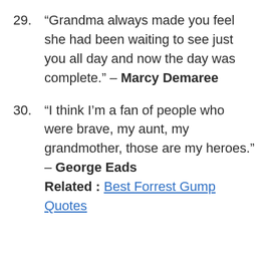29. “Grandma always made you feel she had been waiting to see just you all day and now the day was complete.” – Marcy Demaree
30. “I think I’m a fan of people who were brave, my aunt, my grandmother, those are my heroes.” – George Eads Related : Best Forrest Gump Quotes